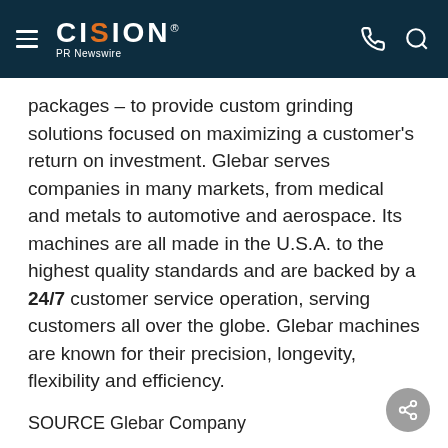CISION PR Newswire
packages – to provide custom grinding solutions focused on maximizing a customer's return on investment. Glebar serves companies in many markets, from medical and metals to automotive and aerospace. Its machines are all made in the U.S.A. to the highest quality standards and are backed by a 24/7 customer service operation, serving customers all over the globe. Glebar machines are known for their precision, longevity, flexibility and efficiency.
SOURCE Glebar Company
Related Links